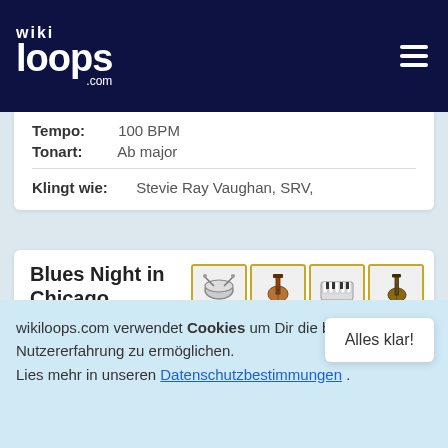wikiloops.com
Tempo: 100 BPM
Tonart: Ab major
Klingt wie: Stevie Ray Vaughan, SRV,
Blues Night in Chicago
Shuffle Jamtrack #152800
[Figure (illustration): Four instrument icons: drums, electric guitar, keyboard/synthesizer, bass guitar — each in a golden-bordered box]
Takt: 4/4
Tempo: 130 BPM
wikiloops.com verwendet Cookies um Dir die beste Nutzererfahrung zu ermöglichen.
Lies mehr in unseren Datenschutzbestimmungen .